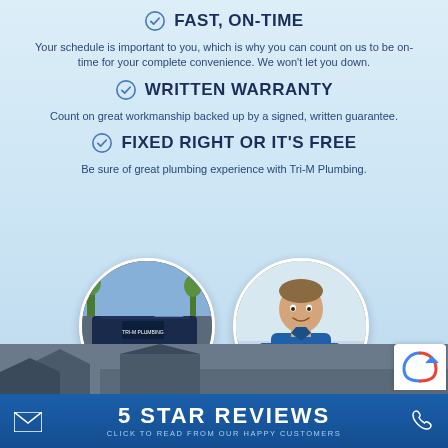FAST, ON-TIME
Your schedule is important to you, which is why you can count on us to be on-time for your complete convenience. We won't let you down.
WRITTEN WARRANTY
Count on great workmanship backed up by a signed, written guarantee.
FIXED RIGHT OR IT'S FREE
Be sure of great plumbing experience with Tri-M Plumbing.
[Figure (photo): Circular photo of a dark blue Tri-M Plumbing van parked outside]
[Figure (photo): Circular photo of a smiling male plumber in a blue polo shirt with arms crossed]
5 STAR REVIEWS
CLICK TO READ FROM OUR HAPPY CUSTOMERS